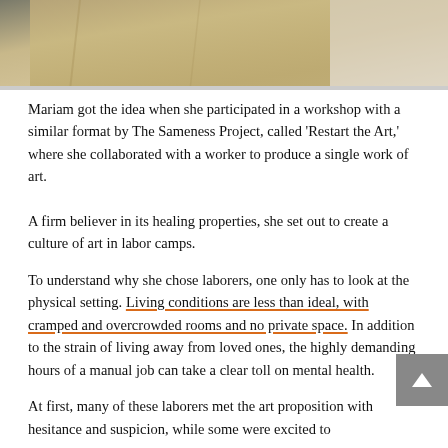[Figure (photo): Partial photo of a person wearing a tan/beige garment, cropped to show torso area against a light background]
Mariam got the idea when she participated in a workshop with a similar format by The Sameness Project, called 'Restart the Art,' where she collaborated with a worker to produce a single work of art.
A firm believer in its healing properties, she set out to create a culture of art in labor camps.
To understand why she chose laborers, one only has to look at the physical setting. Living conditions are less than ideal, with cramped and overcrowded rooms and no private space. In addition to the strain of living away from loved ones, the highly demanding hours of a manual job can take a clear toll on mental health.
At first, many of these laborers met the art proposition with hesitance and suspicion, while some were excited to